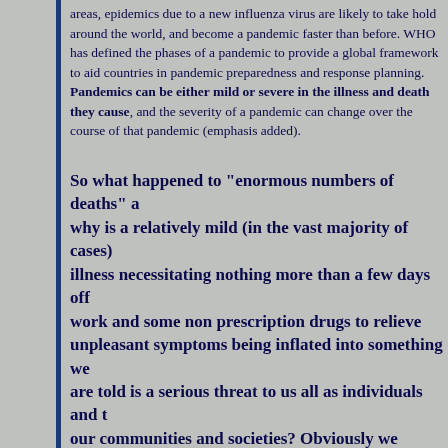areas, epidemics due to a new influenza virus are likely to take hold around the world, and become a pandemic faster than before. WHO has defined the phases of a pandemic to provide a global framework to aid countries in pandemic preparedness and response planning. Pandemics can be either mild or severe in the illness and death they cause, and the severity of a pandemic can change over the course of that pandemic (emphasis added).
So what happened to "enormous numbers of deaths" and why is a relatively mild (in the vast majority of cases) illness necessitating nothing more than a few days off work and some non prescription drugs to relieve unpleasant symptoms being inflated into something we are told is a serious threat to us all as individuals and to our communities and societies? Obviously we cannot answer that but if anyone is taking bats our money is on it being about money and control.
Trust nobody, grab all the information you can get hold of and then think the problem through for yourselves, giving more weight to your own observations and to the